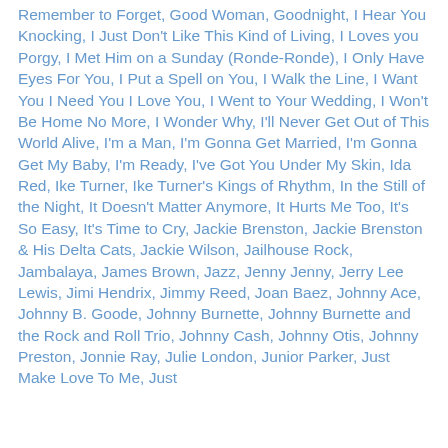Remember to Forget, Good Woman, Goodnight, I Hear You Knocking, I Just Don't Like This Kind of Living, I Loves you Porgy, I Met Him on a Sunday (Ronde-Ronde), I Only Have Eyes For You, I Put a Spell on You, I Walk the Line, I Want You I Need You I Love You, I Went to Your Wedding, I Won't Be Home No More, I Wonder Why, I'll Never Get Out of This World Alive, I'm a Man, I'm Gonna Get Married, I'm Gonna Get My Baby, I'm Ready, I've Got You Under My Skin, Ida Red, Ike Turner, Ike Turner's Kings of Rhythm, In the Still of the Night, It Doesn't Matter Anymore, It Hurts Me Too, It's So Easy, It's Time to Cry, Jackie Brenston, Jackie Brenston & His Delta Cats, Jackie Wilson, Jailhouse Rock, Jambalaya, James Brown, Jazz, Jenny Jenny, Jerry Lee Lewis, Jimi Hendrix, Jimmy Reed, Joan Baez, Johnny Ace, Johnny B. Goode, Johnny Burnette, Johnny Burnette and the Rock and Roll Trio, Johnny Cash, Johnny Otis, Johnny Preston, Jonnie Ray, Julie London, Junior Parker, Just Make Love To Me, Just